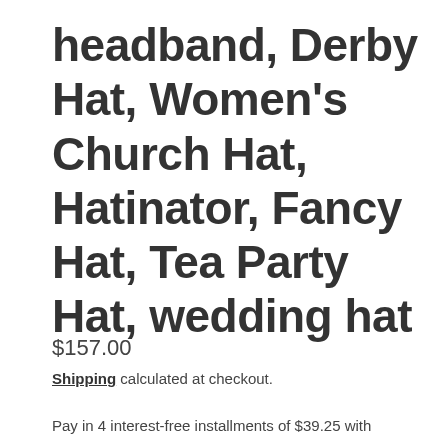headband, Derby Hat, Women's Church Hat, Hatinator, Fancy Hat, Tea Party Hat, wedding hat
$157.00
Shipping calculated at checkout.
Pay in 4 interest-free installments of $39.25 with